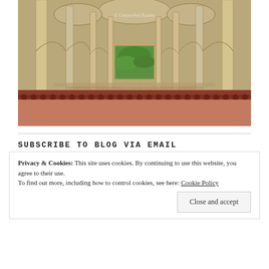[Figure (photo): Interior corridor of an Indian historical monument (likely Humayun's Tomb or similar Mughal architecture) showing receding arched columns, warm yellow stone walls, red sandstone floor, and a green garden visible through a central arched window. Watermark reads '© Untraveled Routes'.]
SUBSCRIBE TO BLOG VIA EMAIL
Privacy & Cookies: This site uses cookies. By continuing to use this website, you agree to their use.
To find out more, including how to control cookies, see here: Cookie Policy
Close and accept